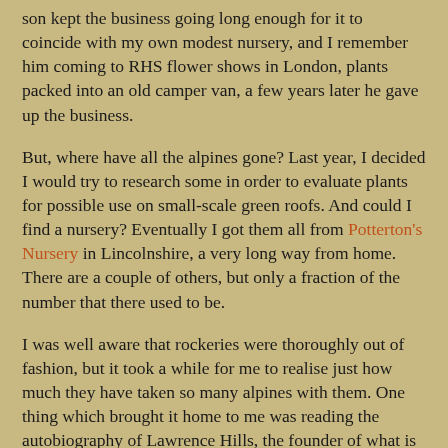son kept the business going long enough for it to coincide with my own modest nursery, and I remember him coming to RHS flower shows in London, plants packed into an old camper van, a few years later he gave up the business.
But, where have all the alpines gone? Last year, I decided I would try to research some in order to evaluate plants for possible use on small-scale green roofs. And could I find a nursery? Eventually I got them all from Potterton's Nursery in Lincolnshire, a very long way from home. There are a couple of others, but only a fraction of the number that there used to be.
I was well aware that rockeries were thoroughly out of fashion, but it took a while for me to realise just how much they have taken so many alpines with them. One thing which brought it home to me was reading the autobiography of Lawrence Hills, the founder of what is now called Garden Organic. Hills had started out as a specialist propagator of alpines, and he was clearly a very busy man, churning out vast numbers of plants – this was back in the 1930s. A skilled propagator was clearly someone who would have no